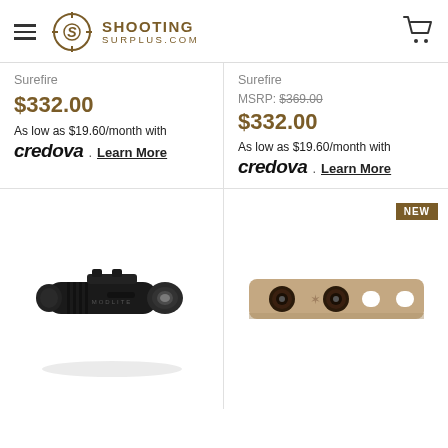SHOOTING SURPLUS.COM
Surefire
$332.00
As low as $19.60/month with credova . Learn More
Surefire
MSRP: $369.00
$332.00
As low as $19.60/month with credova . Learn More
[Figure (photo): Black tactical flashlight/weapon light, side view showing grip ridges and lens]
[Figure (photo): Tan/FDE colored rail panel or accessory mount, flat rectangular shape with two circular holes and two slot cutouts]